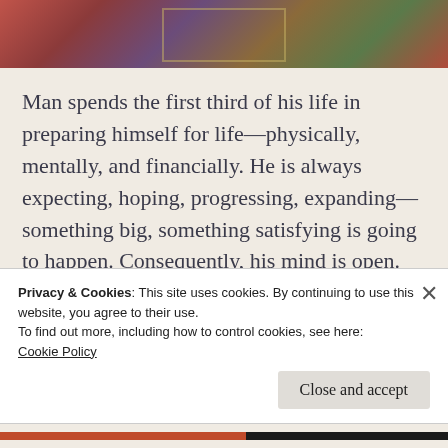[Figure (photo): Top decorative image with autumn leaves and a faint golden rectangular frame overlay, reddish-brown floral tones]
Man spends the first third of his life in preparing himself for life—physically, mentally, and financially. He is always expecting, hoping, progressing, expanding—something big, something satisfying is going to happen. Consequently, his mind is open. He is happy. He is expressing. During the next third of his life, speaking of the average man,
Privacy & Cookies: This site uses cookies. By continuing to use this website, you agree to their use.
To find out more, including how to control cookies, see here:
Cookie Policy
Close and accept